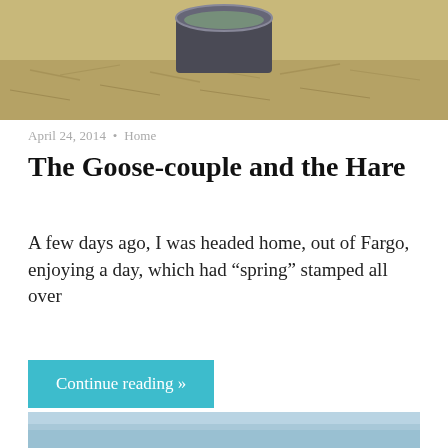[Figure (photo): Top portion of an outdoor photo showing a circular water container/bucket on dry grass/hay]
April 24, 2014 • Home
The Goose-couple and the Hare
A few days ago, I was headed home, out of Fargo, enjoying a day, which had “spring” stamped all over
Continue reading »
[Figure (photo): Bottom portion of a photo showing a light blue/grey foggy outdoor scene]